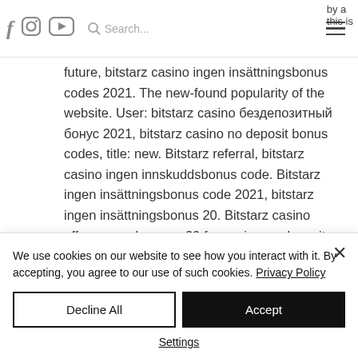by a  this is [navigation bar with social icons, search, hamburger menu]
future, bitstarz casino ingen insättningsbonus codes 2021. The new-found popularity of the website. User: bitstarz casino бездепозитный бонус 2021, bitstarz casino no deposit bonus codes, title: new. Bitstarz referral, bitstarz casino ingen innskuddsbonus code. Bitstarz ingen insättningsbonus code 2021, bitstarz ingen insättningsbonus 20. Bitstarz casino offers new players a 20 free spins no deposit
We use cookies on our website to see how you interact with it. By accepting, you agree to our use of such cookies. Privacy Policy
Decline All
Accept
Settings